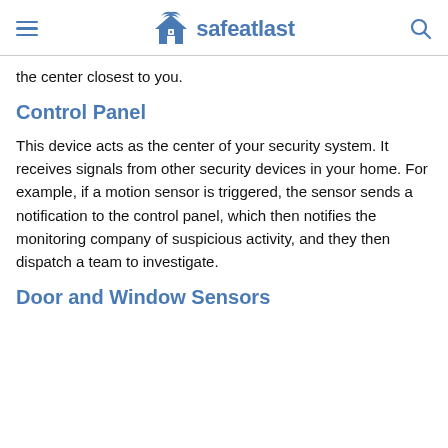safeatlast
the center closest to you.
Control Panel
This device acts as the center of your security system. It receives signals from other security devices in your home. For example, if a motion sensor is triggered, the sensor sends a notification to the control panel, which then notifies the monitoring company of suspicious activity, and they then dispatch a team to investigate.
Door and Window Sensors